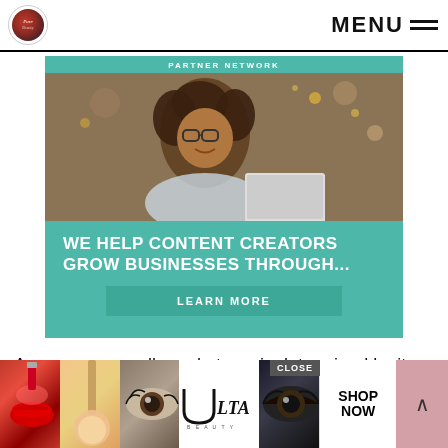MENU
[Figure (infographic): Partner Network advertisement banner with teal background, photo of smiling woman with glasses using a laptop, headline 'WE HELP CONTENT CREATORS GROW BUSINESSES THROUGH...' and a 'LEARN MORE' button]
As you may recall, market cap is determined by its current stock price multiplied by its number of shares outstanding, so because the stock price fluctuates every seco wi the
[Figure (screenshot): Bottom overlay ad for Ulta Beauty showing beauty product images (lips with lipstick, powder brush, eye, Ulta logo, dramatic eye), with CLOSE button, SHOP NOW button, and scroll-up arrow button]